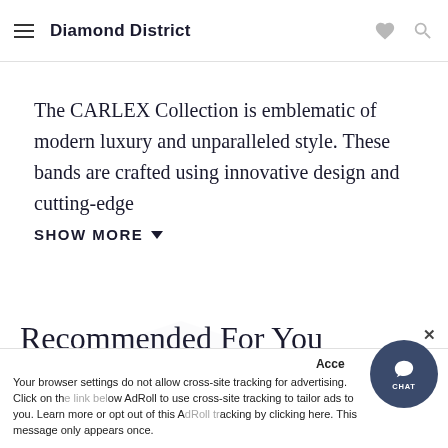Diamond District
The CARLEX Collection is emblematic of modern luxury and unparalleled style. These bands are crafted using innovative design and cutting-edge
SHOW MORE
Recommended For You
Your browser settings do not allow cross-site tracking for advertising. Click on the link below AdRoll to use cross-site tracking to tailor ads to you. Learn more or opt out of this AdRoll tracking by clicking here. This message only appears once.